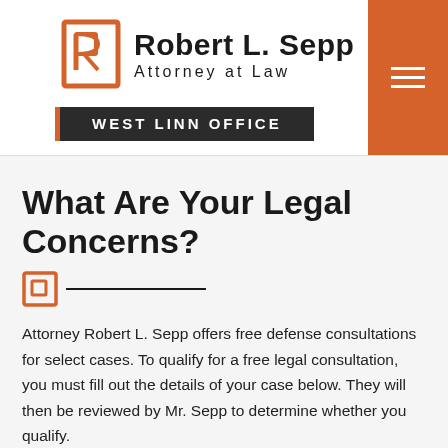[Figure (logo): Robert L. Sepp Attorney at Law logo with orange stylized R icon and text, plus hamburger menu button in orange on the right]
WEST LINN OFFICE
What Are Your Legal Concerns?
Attorney Robert L. Sepp offers free defense consultations for select cases. To qualify for a free legal consultation, you must fill out the details of your case below. They will then be reviewed by Mr. Sepp to determine whether you qualify.